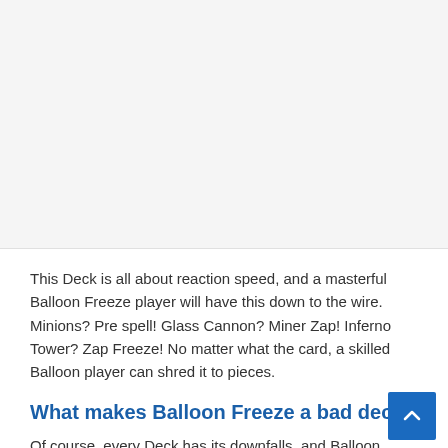[Figure (other): Blank/advertisement area at top of page, light gray background]
This Deck is all about reaction speed, and a masterful Balloon Freeze player will have this down to the wire. Minions? Pre spell! Glass Cannon? Miner Zap! Inferno Tower? Zap Freeze! No matter what the card, a skilled Balloon player can shred it to pieces.
What makes Balloon Freeze a bad deck?
Of course, every Deck has its downfalls, and Balloon